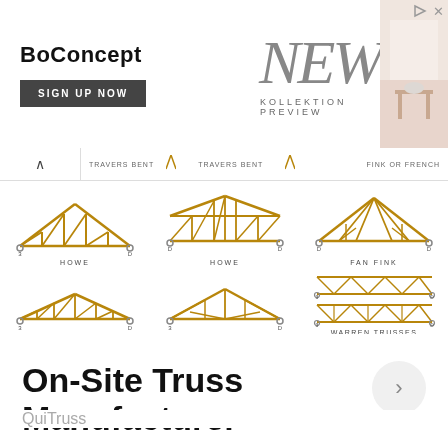[Figure (other): BoConcept advertisement banner: logo 'BoConcept', 'SIGN UP NOW' button, large italic 'NEW' text, 'KOLLEKTION PREVIEW' subtitle, and room scene photo on right]
[Figure (engineering-diagram): Grid of wooden roof truss diagrams showing various truss types: TRAVERS BENT (partial, top row), HOWE, HOWE, FAN FINK, HOWE (PITCH), PRATT, WARREN TRUSSES]
On-Site Truss Manufacturer
QuiTruss